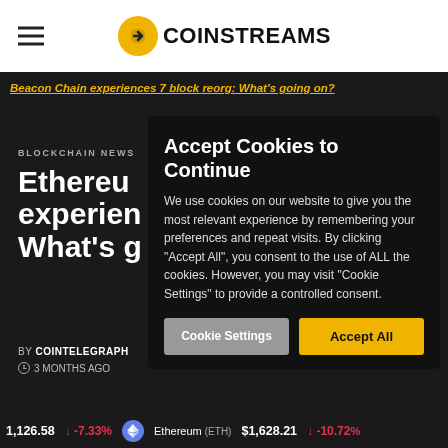COINSTREAMS
Beacon Chain experiences 7 block reorg: What's going on?
BLOCKCHAIN NEWS
Ethereum experiences What's g
BY COINTELEGRAPH
3 MONTHS AGO
Accept Cookies to Continue
We use cookies on our website to give you the most relevant experience by remembering your preferences and repeat visits. By clicking "Accept All", you consent to the use of ALL the cookies. However, you may visit "Cookie Settings" to provide a controlled consent.
Cookie Settings   Accept All
1,126.58 ↓ -7.33%   Ethereum (ETH) $1,628.21 ↓ -10.72%